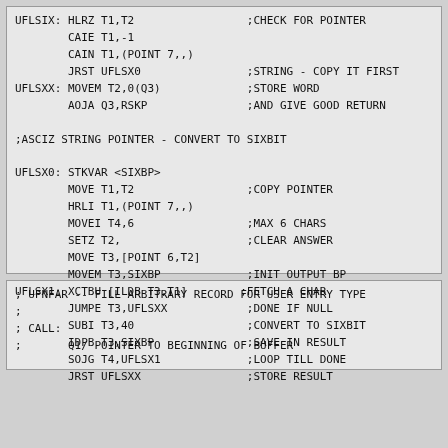UFLSIX: HLRZ T1,T2 ;CHECK FOR POINTER
        CAIE T1,-1
        CAIN T1,(POINT 7,,)
        JRST UFLSX0 ;STRING - COPY IT FIRST
UFLSXX: MOVEM T2,0(Q3) ;STORE WORD
        AOJA Q3,RSKP ;AND GIVE GOOD RETURN

;ASCIZ STRING POINTER - CONVERT TO SIXBIT

UFLSX0: STKVAR <SIXBP>
        MOVE T1,T2 ;COPY POINTER
        HRLI T1,(POINT 7,,)
        MOVEI T4,6 ;MAX 6 CHARS
        SETZ T2, ;CLEAR ANSWER
        MOVE T3,[POINT 6,T2]
        MOVEM T3,SIXBP ;INIT OUTPUT BP
UFLSX1: XCTBU [ILDB T3,T1] ;FETCH A CHAR
        JUMPE T3,UFLSXX ;DONE IF NULL
        SUBI T3,40 ;CONVERT TO SIXBIT
        IDPB T3,SIXBP ;SAVE IN RESULT
        SOJG T4,UFLSX1 ;LOOP TILL DONE
        JRST UFLSXX ;STORE RESULT
; UFNFAR -- FILL ARBITRARY RECORD FOR USER ENTRY TYPE
;
; CALL:
;       Q1/ POINTER TO BEGINNING OF BUFFER